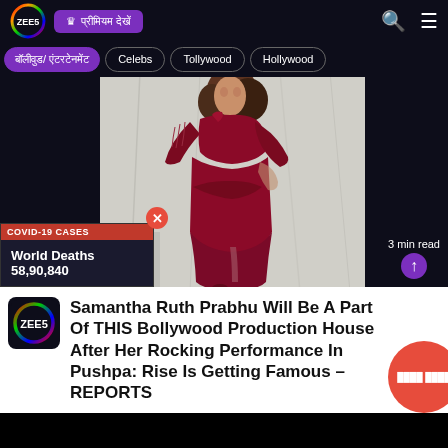ZEE5 | प्रीमियम देखें
बॉलीवुड/ एंटरटेनमेंट | Celebs | Tollywood | Hollywood
[Figure (photo): Woman wearing a dark red/maroon long gown with lace sleeves and a side slit, posing against a white backdrop]
3 min read
COVID-19 CASES
World Deaths
58,90,840
Samantha Ruth Prabhu Will Be A Part Of THIS Bollywood Production House After Her Rocking Performance In Pushpa: Rise Is Getting Famous – REPORTS